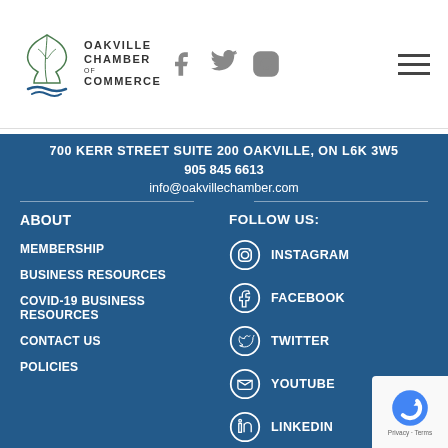[Figure (logo): Oakville Chamber of Commerce logo with oak leaf and stylized water lines, text reads OAKVILLE CHAMBER OF COMMERCE]
[Figure (infographic): Social media icons header: Facebook, Twitter, Instagram]
700 KERR STREET SUITE 200 OAKVILLE, ON L6K 3W5
905 845 6613
info@oakvillechamber.com
ABOUT
MEMBERSHIP
BUSINESS RESOURCES
COVID-19 BUSINESS RESOURCES
CONTACT US
POLICIES
FOLLOW US:
INSTAGRAM
FACEBOOK
TWITTER
YOUTUBE
LINKEDIN